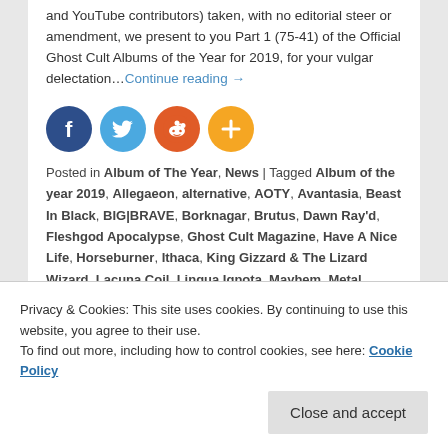and YouTube contributors) taken, with no editorial steer or amendment, we present to you Part 1 (75-41) of the Official Ghost Cult Albums of the Year for 2019, for your vulgar delectation…Continue reading →
[Figure (infographic): Social share buttons: Facebook (dark blue circle), Twitter (light blue circle), Reddit (orange circle with alien logo), More (orange circle with plus sign)]
Posted in Album of The Year, News | Tagged Album of the year 2019, Allegaeon, alternative, AOTY, Avantasia, Beast In Black, BIG|BRAVE, Borknagar, Brutus, Dawn Ray'd, Fleshgod Apocalypse, Ghost Cult Magazine, Have A Nice Life, Horseburner, Ithaca, King Gizzard & The Lizard Wizard, Lacuna Coil, Lingua Ignota, Mayhem, Metal, Moon Tooth, MOTIONLESS IN WHITE, Nick Cave & The Bad Seeds, Overkill, Pijn & Conjurer,
Privacy & Cookies: This site uses cookies. By continuing to use this website, you agree to their use. To find out more, including how to control cookies, see here: Cookie Policy